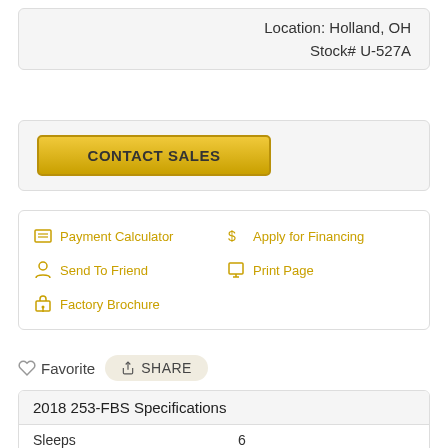Location: Holland, OH
Stock# U-527A
CONTACT SALES
Payment Calculator
Apply for Financing
Send To Friend
Print Page
Factory Brochure
Favorite  SHARE
2018 253-FBS Specifications
|  |  |
| --- | --- |
| Sleeps | 6 |
| Slides | 1 |
| Length | 27 ft 4 in |
| Ext Width | 8 ft |
| Ext Height | 12 ft 2 in |